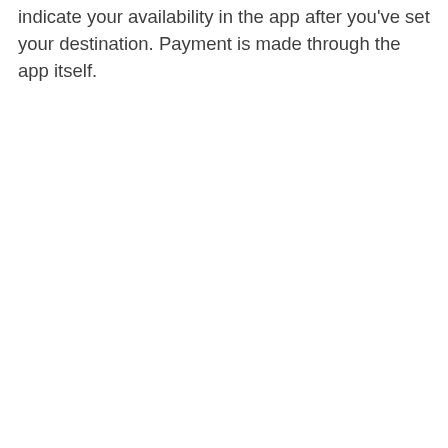indicate your availability in the app after you've set your destination. Payment is made through the app itself.